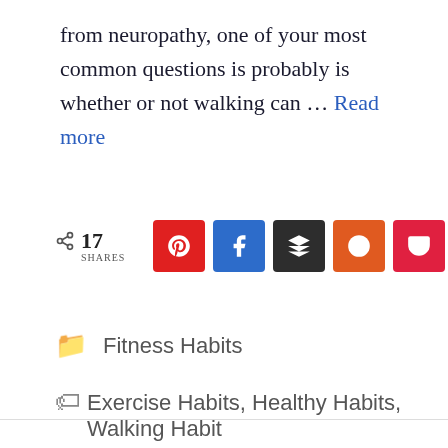from neuropathy, one of your most common questions is probably is whether or not walking can ... Read more
[Figure (infographic): Social share bar showing 17 shares with buttons for Pinterest, Facebook, Buffer, Reddit, Pocket, and Twitter]
Fitness Habits
Exercise Habits, Healthy Habits, Walking Habit